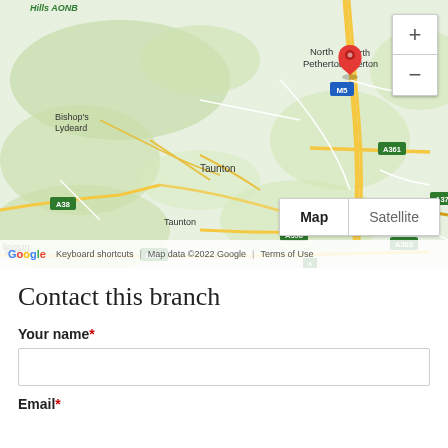[Figure (map): Google Maps screenshot showing an area of Somerset, England, centered on North Petherton (marked with a red location pin). Visible places include Bishop's Lydeard, Taunton, Langport, Martock, South Petherton, Clayhidon, and road labels M5, A361, A378, A358, A303, A38, A3088. Map/Satellite toggle and zoom controls visible. Google branding and copyright 2022 in footer.]
Contact this branch
Your name*
Email*